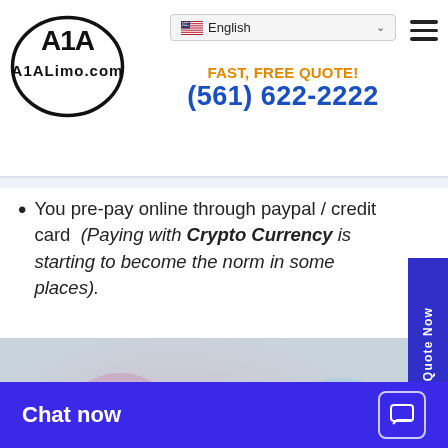[Figure (logo): A1A Limo.com oval logo in black and white]
English
FAST, FREE QUOTE!
(561) 622-2222
You pre-pay online through paypal / credit card  (Paying with Crypto Currency is starting to become the norm in some places).
[Figure (photo): Hands holding a Bitcoin coin with circuit board network graphics overlay]
Crypto Currency: A
Chat now
Get Quote Now